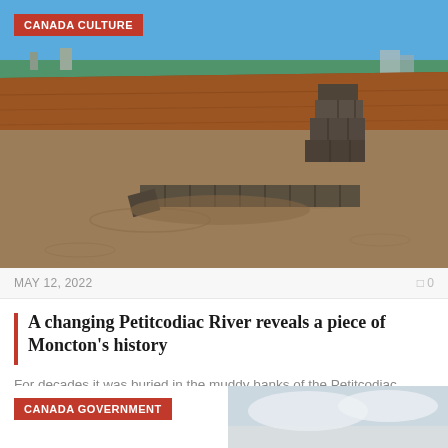[Figure (photo): Stone ruins of an old structure partially submerged in the muddy brown Petitcodiac River, with red/brown clay banks and blue sky in the background]
CANADA CULTURE
MAY 12, 2022   0 0
A changing Petitcodiac River reveals a piece of Moncton's history
For decades it was buried in the muddy banks of the Petitcodiac River.Its counterparts held...
CANADA GOVERNMENT